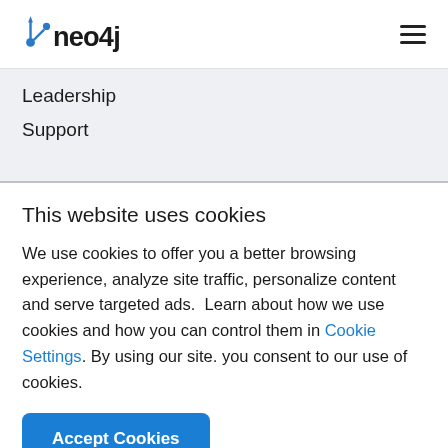neo4j [logo] [hamburger menu]
Leadership
Support
This website uses cookies
We use cookies to offer you a better browsing experience, analyze site traffic, personalize content and serve targeted ads.  Learn about how we use cookies and how you can control them in Cookie Settings. By using our site. you consent to our use of cookies.
Accept Cookies   Use necessary cookies only